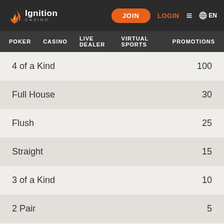[Figure (logo): Ignition Casino logo with flame icon, JOIN button, LOGIN link, hamburger menu, and EN language selector in dark top bar]
POKER   CASINO   LIVE DEALER   VIRTUAL SPORTS   PROMOTIONS
| Hand | Payout |
| --- | --- |
| 4 of a Kind | 100 |
| Full House | 30 |
| Flush | 25 |
| Straight | 15 |
| 3 of a Kind | 10 |
| 2 Pair | 5 |
| Kings or Better | 5 |